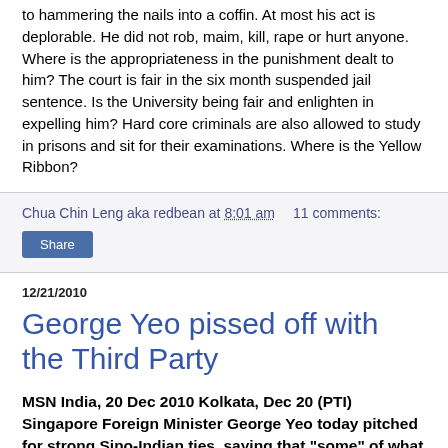to hammering the nails into a coffin. At most his act is deplorable. He did not rob, maim, kill, rape or hurt anyone. Where is the appropriateness in the punishment dealt to him? The court is fair in the six month suspended jail sentence. Is the University being fair and enlighten in expelling him? Hard core criminals are also allowed to study in prisons and sit for their examinations. Where is the Yellow Ribbon?
Chua Chin Leng aka redbean at 8:01 am    11 comments:
Share
12/21/2010
George Yeo pissed off with the Third Party
MSN India, 20 Dec 2010 Kolkata, Dec 20 (PTI) Singapore Foreign Minister George Yeo today pitched for strong Sino-Indian ties, saying that "some" of what is being made of the "rivalry" between the two countries was in